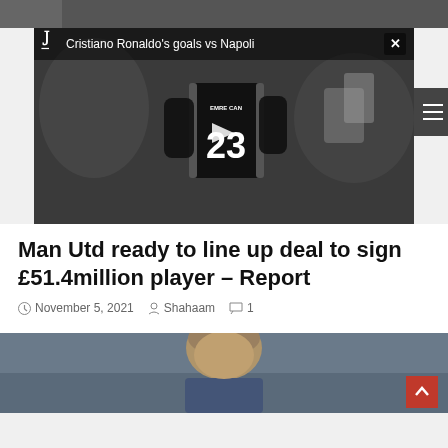[Figure (screenshot): Video player showing Cristiano Ronaldo's goals vs Napoli – Juventus branded, showing player in number 23 jersey (EMRE CAN) from behind, with play button overlay]
Man Utd ready to line up deal to sign £51.4million player – Report
November 5, 2021  Shahaam  1
[Figure (photo): Photo of a man (football manager) looking upward, cropped at bottom of page]